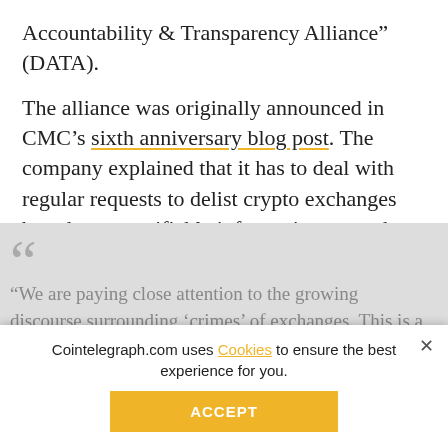Accountability & Transparency Alliance” (DATA).
The alliance was originally announced in CMC’s sixth anniversary blog post. The company explained that it has to deal with regular requests to delist crypto exchanges based on unverifiable information — such as screenshots of chat logs and emails — which is why CMC chose to empower its users to make more informed decisions and “provide a means for projects to differentiate themselves through enhanced disclosures” inst
[Figure (other): Social share button bar with icons for Facebook, Twitter, Telegram, Reddit, LinkedIn, WhatsApp, Copy, and scroll-to-top]
“We are paying close attention to the growing discourse surrounding ‘crimes’ of exchanges. This is a difficult problem to solve, as
Cointelegraph.com uses Cookies to ensure the best experience for you.
ACCEPT